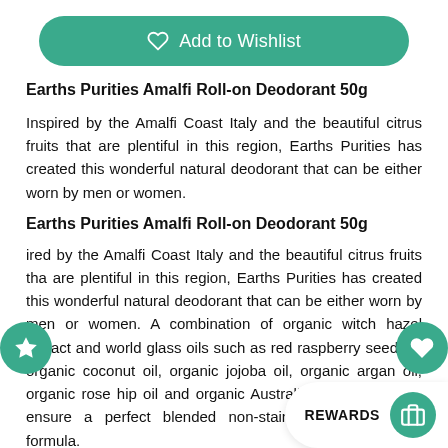[Figure (other): Add to Wishlist green rounded button with heart icon]
Earths Purities Amalfi Roll-on Deodorant 50g
Inspired by the Amalfi Coast Italy and the beautiful citrus fruits that are plentiful in this region, Earths Purities has created this wonderful natural deodorant that can be either worn by men or women.
Earths Purities Amalfi Roll-on Deodorant 50g
ired by the Amalfi Coast Italy and the beautiful citrus fruits tha are plentiful in this region, Earths Purities has created this wonderful natural deodorant that can be either worn by men or women. A combination of organic witch hazel extract and world glass oils such as red raspberry seed oil, organic coconut oil, organic jojoba oil, organic argan oil, organic rose hip oil and organic Australian macadamia oil ensure a perfect blended non-stain and non greasy formula.
These oils also contain natural healing pr
assist in hydrating and repairing the skin by providing essential fatty